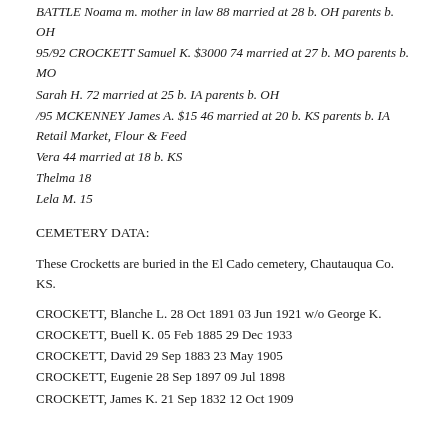BATTLE Noama m. mother in law 88 married at 28 b. OH parents b. OH
95/92 CROCKETT Samuel K. $3000 74 married at 27 b. MO parents b. MO
Sarah H. 72 married at 25 b. IA parents b. OH
/95 MCKENNEY James A. $15 46 married at 20 b. KS parents b. IA Retail Market, Flour & Feed
Vera 44 married at 18 b. KS
Thelma 18
Lela M. 15
CEMETERY DATA:
These Crocketts are buried in the El Cado cemetery, Chautauqua Co. KS.
CROCKETT, Blanche L. 28 Oct 1891 03 Jun 1921 w/o George K.
CROCKETT, Buell K. 05 Feb 1885 29 Dec 1933
CROCKETT, David 29 Sep 1883 23 May 1905
CROCKETT, Eugenie 28 Sep 1897 09 Jul 1898
CROCKETT, James K. 21 Sep 1832 12 Oct 1909